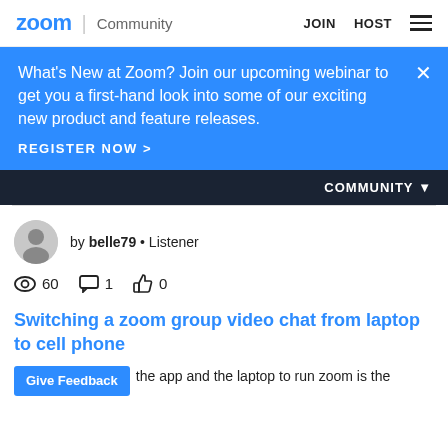zoom | Community   JOIN   HOST
What's New at Zoom? Join our upcoming webinar to get you a first-hand look into some of our exciting new product and feature releases.
REGISTER NOW >
COMMUNITY
by belle79 • Listener
60  1  0
Switching a zoom group video chat from laptop to cell phone
Wh [Give Feedback] the app and the laptop to run zoom is the